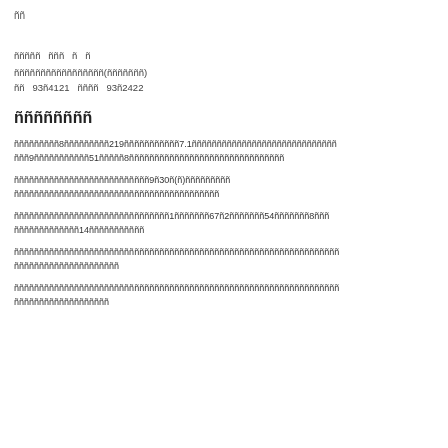ññ
ñññññ　ñññ　ñ　ñ
ñññññññññññññññññ(ñññññññ)
ññ　93ñ4121　ññññ　93ñ2422
ññññññññ
ñññññññññ8ñññññññññ219ñññññññññññ7.1ñññññññññññññññññññññññññññññ9ñññññññññññ51ñññññ8ñññññññññññññññññññññññññññññññ
ñññññññññññññññññññññññññññ9ñ30ñ(ñ)ñññññññññ
ñññññññññññññññññññññññññññññññññññññññññ
ñññññññññññññññññññññññññññññññ1ñññññññ67ñ2ñññññññ54ñññññññ8ñn
ñññññññññññññ14ñññññññññññ
ñññññññññññññññññññññññññññññññññññññññññññññññññññññññññññññññññ
ñññññññññññññññññññññññ
ñññññññññññññññññññññññññññññññññññññññññññññññññññññññññññññññññ
ñññññññññññññññññññ